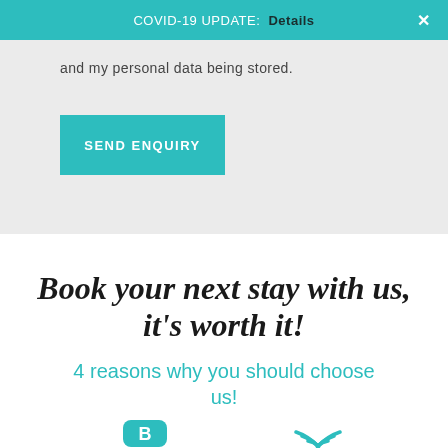COVID-19 UPDATE: Details ✕
and my personal data being stored.
SEND ENQUIRY
Book your next stay with us, it's worth it!
4 reasons why you should choose us!
[Figure (illustration): Two partial icons visible at the bottom of the page — a teal rounded square icon on the left and a teal WiFi-like curved lines icon on the right]